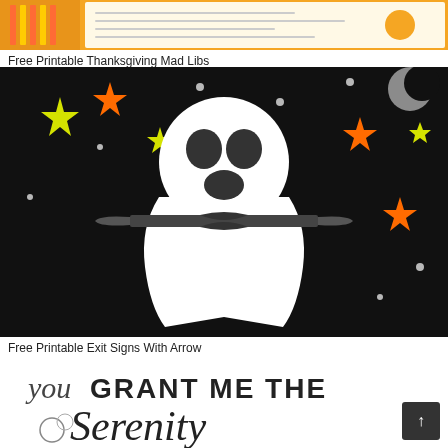[Figure (photo): Partial view of a Free Printable Thanksgiving Mad Libs sheet with colorful pencils]
Free Printable Thanksgiving Mad Libs
[Figure (photo): A white ghost craft made from a napkin or tissue with dark ribbon tied at its neck, dark circle eyes and mouth, against a black background with colorful stars and polka dots]
Free Printable Exit Signs With Arrow
[Figure (photo): Partial view of a printable with decorative text reading 'You Grant Me The Serenity' in mixed calligraphy and block lettering]